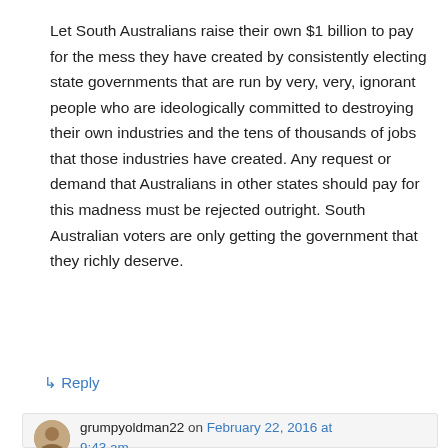Let South Australians raise their own $1 billion to pay for the mess they have created by consistently electing state governments that are run by very, very, ignorant people who are ideologically committed to destroying their own industries and the tens of thousands of jobs that those industries have created. Any request or demand that Australians in other states should pay for this madness must be rejected outright. South Australian voters are only getting the government that they richly deserve.
↳ Reply
grumpyoldman22 on February 22, 2016 at 9:43 am